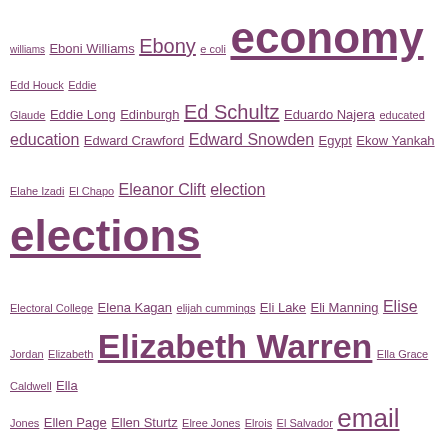[Figure (other): Tag cloud of names and topics starting with 'E', rendered in purple/mauve colored hyperlinks of varying sizes indicating frequency. Terms include: williams, Eboni Williams, Ebony, e coli, economy, Edd Houck, Eddie Glaude, Eddie Long, Edinburgh, Ed Schultz, Eduardo Najera, educated, education, Edward Crawford, Edward Snowden, Egypt, Ekow Yankah, Elahe Izadi, El Chapo, Eleanor Clift, election, elections, Electoral College, Elena Kagan, elijah cummings, Eli Lake, Eli Manning, Elise Jordan, Elizabeth, Elizabeth Warren, Ella Grace Caldwell, Ella Jones, Ellen Page, Ellen Sturtz, Elree Jones, Elrois, El Salvador, email, Emanuel AME Church, Emanuel Cleaver, Emauel AME Church, Embassy, Emergency Manager, Emily Tisch Sussman, Emin, Eminem, Emmanuel Macron, Emma Stone, Emma Stone sex tape, Emmett Till, Emmitt Vascocu, Empire, employment discrimination, endorsement, End White Silence, English League, En Marche, Enrique Pena Nieto, environment, Environmental Protection Agency, EPA, Episode 7, Eric Adams, Eric B, Eric Cantor, Eric Fehrnstrom, eric gardner, Eric Garner, Eric Greitens, Eric Holder, Erick Erickson, Eric Trump, Erika Hall, Erik Killmonger, Erin Bilbray, Erin McPike, Erin Ryan, Ernesto Cordero, Errol Louis, ESPN, estate tax, Etan Thomas, Etch-A-Sketch, Ethan Couch, ethics, Et Tu America, EU, Eugene]